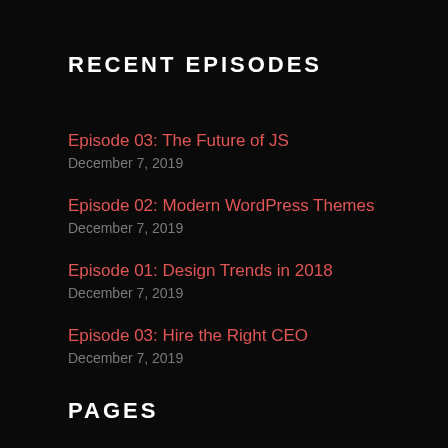RECENT EPISODES
Episode 03: The Future of JS
December 7, 2019
Episode 02: Modern WordPress Themes
December 7, 2019
Episode 01: Design Trends in 2018
December 7, 2019
Episode 03: Hire the Right CEO
December 7, 2019
PAGES